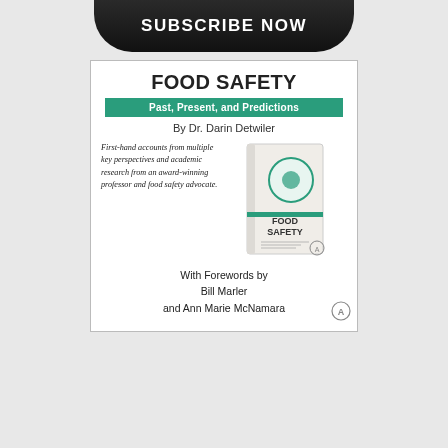[Figure (other): Subscribe Now button banner at top of page, black rounded rectangle with white bold text]
[Figure (illustration): Book advertisement for 'Food Safety: Past, Present, and Predictions' by Dr. Darin Detwiler. White box with book title, green subtitle bar, author name, italic description text, book cover image showing food safety themed cover, and forewords by Bill Marler and Ann Marie McNamara. Elsevier publisher logo in bottom right corner.]